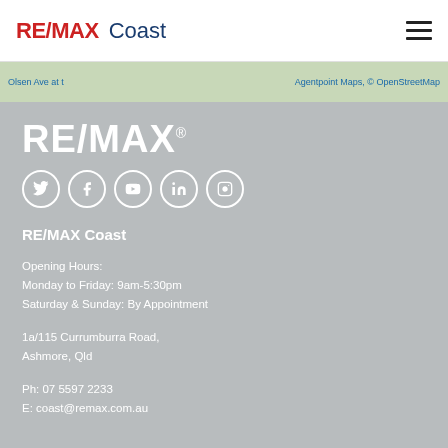RE/MAX Coast
[Figure (map): Street map strip showing Olsen Ave area with Agentpoint Maps, © OpenStreetMap attribution]
[Figure (logo): RE/MAX large white logo on grey background]
[Figure (infographic): Social media icons row: Twitter, Facebook, YouTube, LinkedIn, Instagram]
RE/MAX Coast
Opening Hours:
Monday to Friday: 9am-5:30pm
Saturday & Sunday: By Appointment
1a/115 Currumburra Road,
Ashmore, Qld
Ph: 07 5597 2233
E: coast@remax.com.au